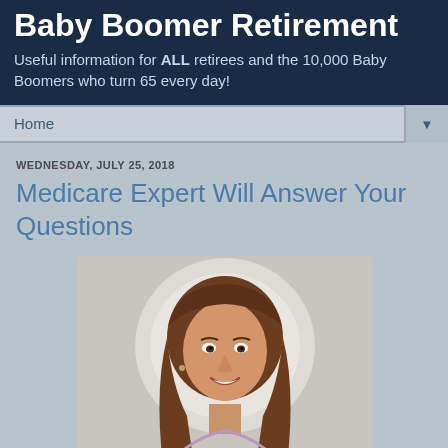Baby Boomer Retirement
Useful information for ALL retirees and the 10,000 Baby Boomers who turn 65 every day!
Home
WEDNESDAY, JULY 25, 2018
Medicare Expert Will Answer Your Questions
[Figure (photo): Professional headshot of a woman with long brown hair, smiling, wearing a light purple collared shirt, with a circular light-colored background behind her head.]